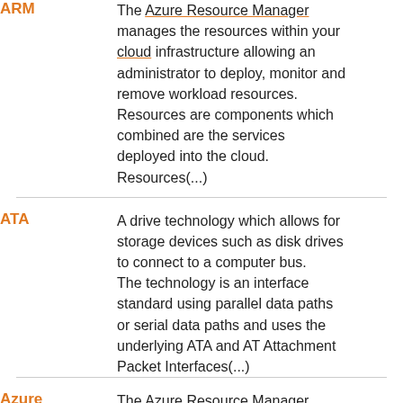ARM — The Azure Resource Manager manages the resources within your cloud infrastructure allowing an administrator to deploy, monitor and remove workload resources. Resources are components which combined are the services deployed into the cloud. Resources(...)
ATA — A drive technology which allows for storage devices such as disk drives to connect to a computer bus. The technology is an interface standard using parallel data paths or serial data paths and uses the underlying ATA and AT Attachment Packet Interfaces(...)
Azure Resource — The Azure Resource Manager manages the resources within your...